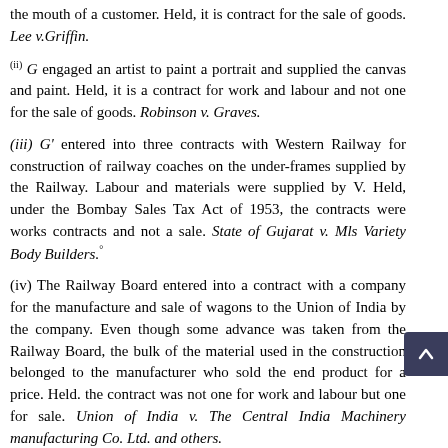the mouth of a customer. Held, it is contract for the sale of goods. Lee v.Griffin.
(ii) G engaged an artist to paint a portrait and supplied the canvas and paint. Held, it is a contract for work and labour and not one for the sale of goods. Robinson v. Graves.
(iii) G' entered into three contracts with Western Railway for construction of railway coaches on the under-frames supplied by the Railway. Labour and materials were supplied by V. Held, under the Bombay Sales Tax Act of 1953, the contracts were works contracts and not a sale. State of Gujarat v. Mls Variety Body Builders.°
(iv) The Railway Board entered into a contract with a company for the manufacture and sale of wagons to the Union of India by the company. Even though some advance was taken from the Railway Board, the bulk of the material used in the construction belonged to the manufacturer who sold the end product for a price. Held. the contract was not one for work and labour but one for sale. Union of India v. The Central India Machinery manufacturing Co. Ltd. and others.